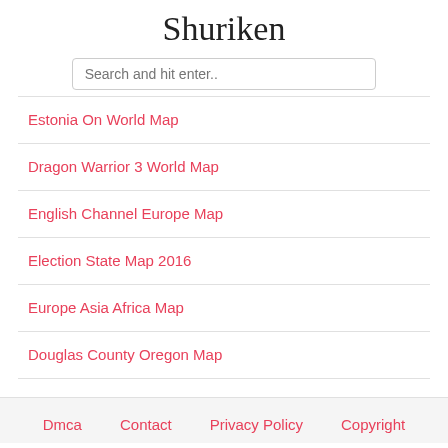Shuriken
Search and hit enter..
Estonia On World Map
Dragon Warrior 3 World Map
English Channel Europe Map
Election State Map 2016
Europe Asia Africa Map
Douglas County Oregon Map
Dmca   Contact   Privacy Policy   Copyright